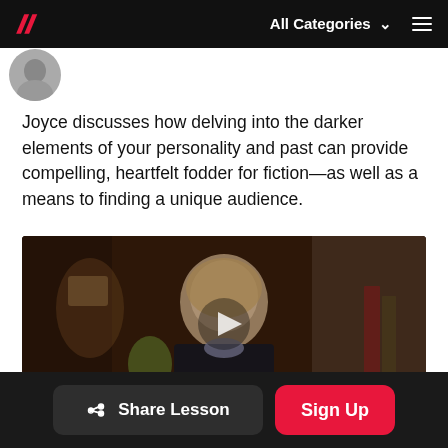All Categories ≡
[Figure (photo): Circular avatar/profile photo at top left, partially cropped]
Joyce discusses how delving into the darker elements of your personality and past can provide compelling, heartfelt fodder for fiction—as well as a means to finding a unique audience.
[Figure (screenshot): Video thumbnail showing a woman with glasses and blonde hair sitting in front of bookshelves, with a play button overlay in the center]
Share Lesson | Sign Up